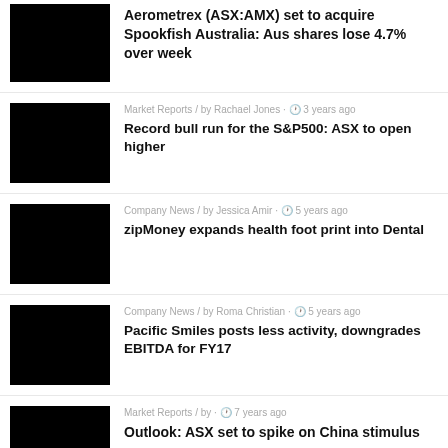[Figure (photo): Black thumbnail image for first article]
Aerometrex (ASX:AMX) set to acquire Spookfish Australia: Aus shares lose 4.7% over week
Market Reports / by Rachael Jones · 🕐 3 years ago
[Figure (photo): Black thumbnail image for second article]
Record bull run for the S&P500: ASX to open higher
Company News / by Jessica Amir · 🕐 5 years ago
[Figure (photo): Black thumbnail image for third article]
zipMoney expands health foot print into Dental
Company News / by Roma Christian · 🕐 5 years ago
[Figure (photo): Black thumbnail image for fourth article]
Pacific Smiles posts less activity, downgrades EBITDA for FY17
Market Reports / by · 🕐 7 years ago
[Figure (photo): Black thumbnail image for fifth article]
Outlook: ASX set to spike on China stimulus